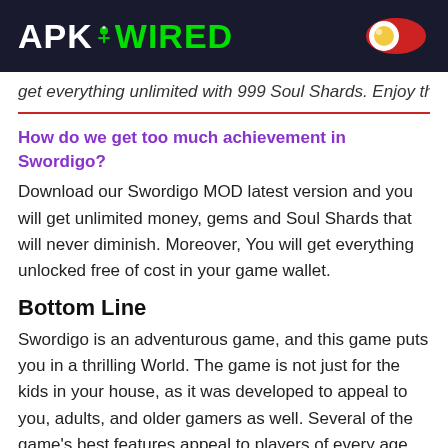APK WIRED
get everything unlimited with 999 Soul Shards. Enjoy the game!
How do we get too much achievement in Swordigo?
Download our Swordigo MOD latest version and you will get unlimited money, gems and Soul Shards that will never diminish. Moreover, You will get everything unlocked free of cost in your game wallet.
Bottom Line
Swordigo is an adventurous game, and this game puts you in a thrilling World. The game is not just for the kids in your house, as it was developed to appeal to you, adults, and older gamers as well. Several of the game's best features appeal to players of every age, allowing you to enjoy a wonderful gaming experience. Also, by downloading Swordigo MOD APK unlimited soul shards, you will be able to meet the game's